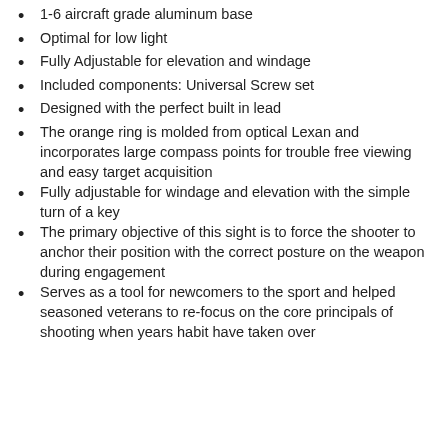1-6 aircraft grade aluminum base
Optimal for low light
Fully Adjustable for elevation and windage
Included components: Universal Screw set
Designed with the perfect built in lead
The orange ring is molded from optical Lexan and incorporates large compass points for trouble free viewing and easy target acquisition
Fully adjustable for windage and elevation with the simple turn of a key
The primary objective of this sight is to force the shooter to anchor their position with the correct posture on the weapon during engagement
Serves as a tool for newcomers to the sport and helped seasoned veterans to re-focus on the core principals of shooting when years habit have taken over